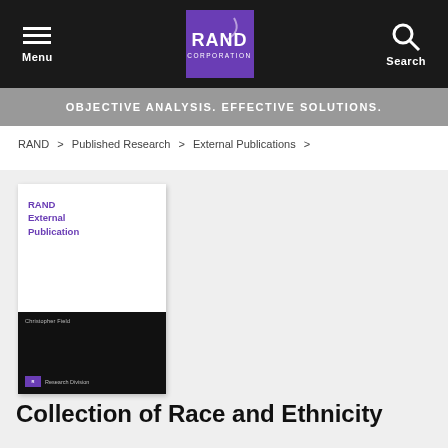RAND Corporation - Menu / Search navigation bar
OBJECTIVE ANALYSIS. EFFECTIVE SOLUTIONS.
RAND > Published Research > External Publications >
[Figure (illustration): RAND External Publication book cover with purple top section showing 'RAND External Publication' text and black bottom section with author name Christopher Field and Research Division branding]
Collection of Race and Ethnicity Data...